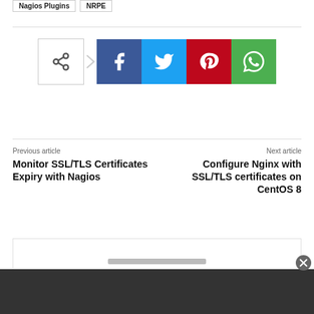Nagios Plugins
NRPE
[Figure (infographic): Social share icons row: share icon box with arrow, followed by Facebook (blue), Twitter (cyan), Pinterest (red), WhatsApp (green) buttons]
Previous article
Monitor SSL/TLS Certificates Expiry with Nagios
Next article
Configure Nginx with SSL/TLS certificates on CentOS 8
Thank you for visiting. You
[Figure (other): Advertisement banner bar at the bottom of the page, dark background]